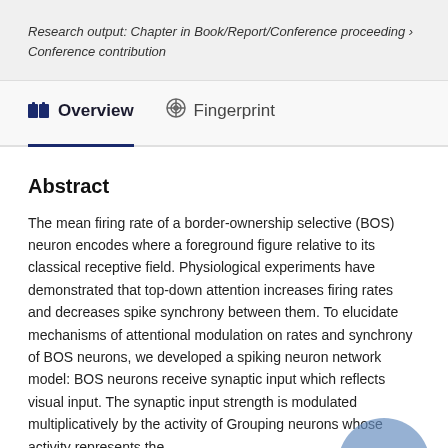Research output: Chapter in Book/Report/Conference proceeding › Conference contribution
Overview   Fingerprint
Abstract
The mean firing rate of a border-ownership selective (BOS) neuron encodes where a foreground figure relative to its classical receptive field. Physiological experiments have demonstrated that top-down attention increases firing rates and decreases spike synchrony between them. To elucidate mechanisms of attentional modulation on rates and synchrony of BOS neurons, we developed a spiking neuron network model: BOS neurons receive synaptic input which reflects visual input. The synaptic input strength is modulated multiplicatively by the activity of Grouping neurons whose activity represents the